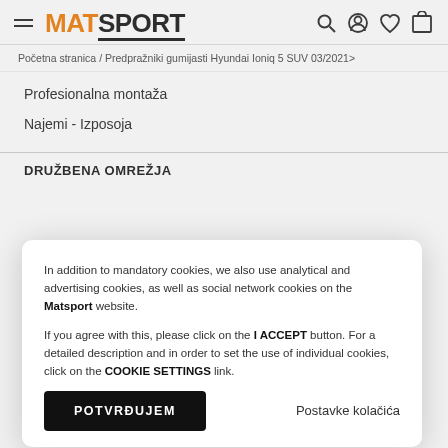MATSPORT — navigation header with hamburger menu, logo, search, account, wishlist, cart icons
Početna stranica / Predpražniki gumijasti Hyundai Ioniq 5 SUV 03/2021>
Profesionalna montaža
Najemi - Izposoja
DRUŽBENA OMREŽJA
In addition to mandatory cookies, we also use analytical and advertising cookies, as well as social network cookies on the Matsport website.

If you agree with this, please click on the I ACCEPT button. For a detailed description and in order to set the use of individual cookies, click on the COOKIE SETTINGS link.
POTVRĐUJEM
Postavke kolačića